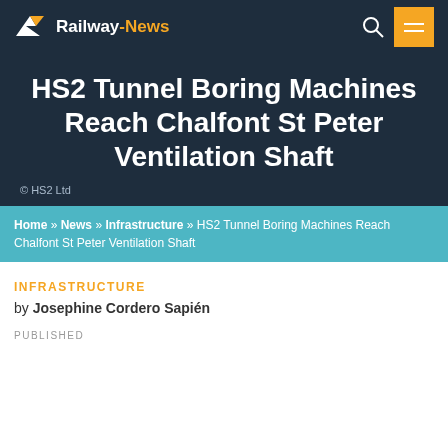Railway-News
HS2 Tunnel Boring Machines Reach Chalfont St Peter Ventilation Shaft
© HS2 Ltd
Home » News » Infrastructure » HS2 Tunnel Boring Machines Reach Chalfont St Peter Ventilation Shaft
INFRASTRUCTURE
by Josephine Cordero Sapién
PUBLISHED